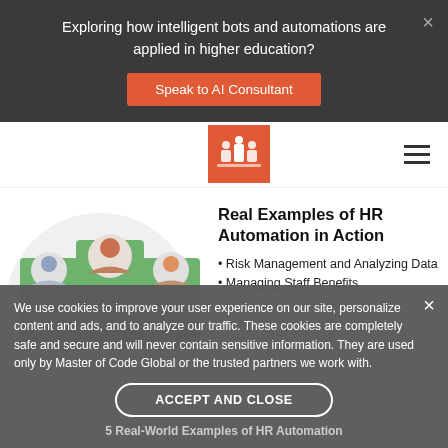Exploring how intelligent bots and automations are applied in higher education?
Speak to AI Consultant
[Figure (logo): Master of Code Global logo on red/orange square background with white icon showing people/group]
Real Examples of HR Automation in Action
Risk Management and Analyzing Data
Managing Staff Benefits
Employee On-boarding
Recruiting/Sourcing
[Figure (illustration): Illustration of three people profiles in green card frames with a light grey circle background]
We use cookies to improve your user experience on our site, personalize content and ads, and to analyze our traffic. These cookies are completely safe and secure and will never contain sensitive information. They are used only by Master of Code Global or the trusted partners we work with.
ACCEPT AND CLOSE
5 Real-World Examples of HR Automation